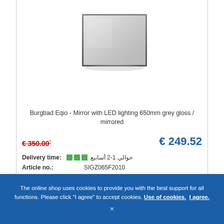[Figure (photo): Product photo of Burgbad Eqio mirror with LED lighting, rectangular, grey gloss / mirrored finish, viewed from slight angle]
Burgbad Eqio - Mirror with LED lighting 650mm grey gloss / mirrored
€ 350.00* (strikethrough old price)
€ 249.52 (current price)
Delivery time: ■■■ حوالي 1-2 أسابيع
Article no.: SIGZ065F2010
ADD TO CART
The online shop uses cookies to provide you with the best support for all functions. Please click "I agree" to accept cookies. Use of cookies. I agree. ×